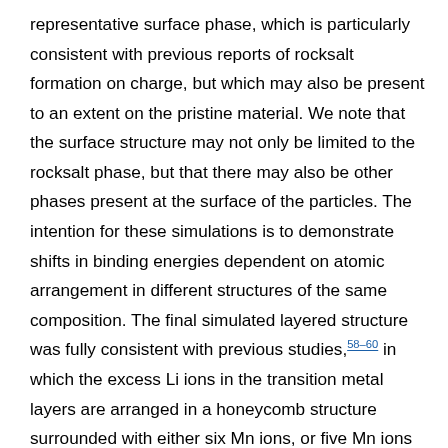representative surface phase, which is particularly consistent with previous reports of rocksalt formation on charge, but which may also be present to an extent on the pristine material. We note that the surface structure may not only be limited to the rocksalt phase, but that there may also be other phases present at the surface of the particles. The intention for these simulations is to demonstrate shifts in binding energies dependent on atomic arrangement in different structures of the same composition. The final simulated layered structure was fully consistent with previous studies,58–60 in which the excess Li ions in the transition metal layers are arranged in a honeycomb structure surrounded with either six Mn ions, or five Mn ions and one Ni ion (details in ESI, ‡ Note 10). The rocksalt structure (Fm3̄m) was considered fully disordered with the same transition metal ratio as in the layered structure. We find that the disordered rocksalt form, as a bulk phase, is calculated to have a higher total energy than the layered structure by approximately 0.5 eV f.u.−1,